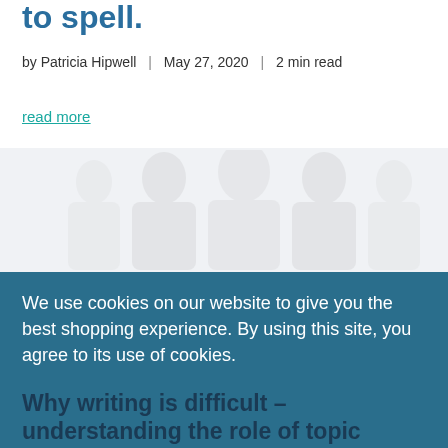to spell.
by Patricia Hipwell | May 27, 2020 | 2 min read
read more
[Figure (photo): Faded silhouette image of people, used as a decorative background image on the article page.]
We use cookies on our website to give you the best shopping experience. By using this site, you agree to its use of cookies.
okay
Why writing is difficult – understanding the role of topic